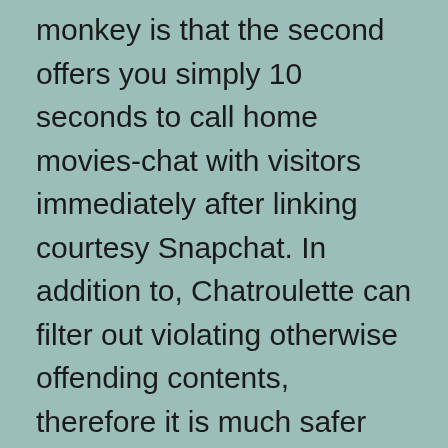monkey is that the second offers you simply 10 seconds to call home movies-chat with visitors immediately after linking courtesy Snapchat. In addition to, Chatroulette can filter out violating otherwise offending contents, therefore it is much safer than simply Omegle, and therefore will not render much oversight to your improper articles. Within the Chatroulette, someone is leave the new cam otherwise “kill” the talk should you choose or state something that they dislike. An electronic digital merchant is roofed throughout the set you can buy membership enhancements and you will gift devices which have coins, products, or money